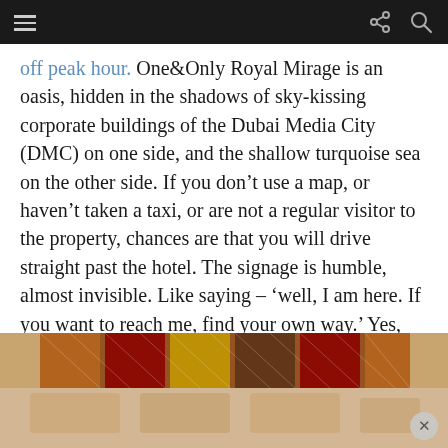[Navigation bar with hamburger menu, share icon, and search icon]
off peak hour. One&Only Royal Mirage is an oasis, hidden in the shadows of sky-kissing corporate buildings of the Dubai Media City (DMC) on one side, and the shallow turquoise sea on the other side. If you don't use a map, or haven't taken a taxi, or are not a regular visitor to the property, chances are that you will drive straight past the hotel. The signage is humble, almost invisible. Like saying – 'well, I am here. If you want to reach me, find your own way.' Yes, the property has an air of haughtiness about it.
[Figure (photo): Decorative textile or cushion with colorful geometric pattern, partially visible at bottom of page]